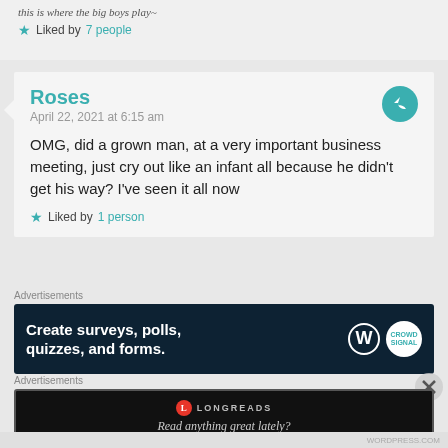this is where the big boys play~
Liked by 7 people
Roses
April 22, 2021 at 6:15 am
OMG, did a grown man, at a very important business meeting, just cry out like an infant all because he didn't get his way? I've seen it all now
Liked by 1 person
Advertisements
[Figure (screenshot): WordPress CrowdSignal advertisement banner: 'Create surveys, polls, quizzes, and forms.' on dark background with WordPress and CrowdSignal logos]
Advertisements
[Figure (screenshot): Longreads advertisement: red circular logo with 'L', text 'LONGREADS', tagline 'Read anything great lately?' on dark background]